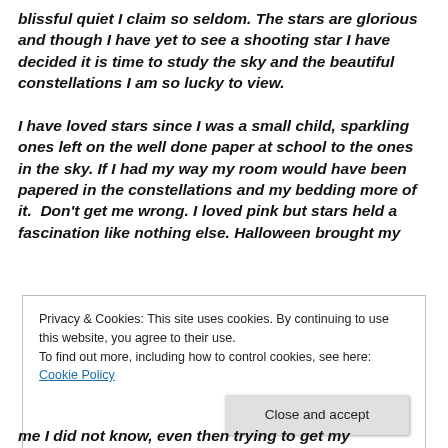blissful quiet I claim so seldom. The stars are glorious and though I have yet to see a shooting star I have decided it is time to study the sky and the beautiful constellations I am so lucky to view.

I have loved stars since I was a small child, sparkling ones left on the well done paper at school to the ones in the sky. If I had my way my room would have been papered in the constellations and my bedding more of it.  Don't get me wrong. I loved pink but stars held a fascination like nothing else. Halloween brought my
Privacy & Cookies: This site uses cookies. By continuing to use this website, you agree to their use.
To find out more, including how to control cookies, see here: Cookie Policy

Close and accept
me I did not know, even then trying to get my